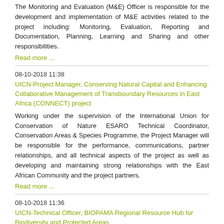The Monitoring and Evaluation (M&E) Officer is responsible for the development and implementation of M&E activities related to the project including: Monitoring, Evaluation, Reporting and Documentation, Planning, Learning and Sharing and other responsibilities.
Read more ...
08-10-2018 11:38
UICN-Project Manager, Conserving Natural Capital and Enhancing Collaborative Management of Transboundary Resources in East Africa (CONNECT) project
Working under the supervision of the International Union for Conservation of Nature ESARO Technical Coordinator, Conservation Areas & Species Programme, the Project Manager will be responsible for the performance, communications, partner relationships, and all technical aspects of the project as well as developing and maintaining strong relationships with the East African Community and the project partners.
Read more ...
08-10-2018 11:36
UICN-Technical Officer, BIOPAMA Regional Resource Hub for Biodiversity and Protected Areas
The International Union for Conservation of Nature is looking for a Technical Officer, BIOPAMA Regional Resource Hub for Biodiversity and Protected Areas who will be responsible for coordinating the development of the Resource Hub for Biodiversity and Protected Areas and expanding the networks of contributors and users in Eastern and Southern Africa. She/he will work closely with Protected Area agencies and Regional Experts in collection and collation of data and information for effective management and governance of the protected and conserved areas in the region.
Read more ...